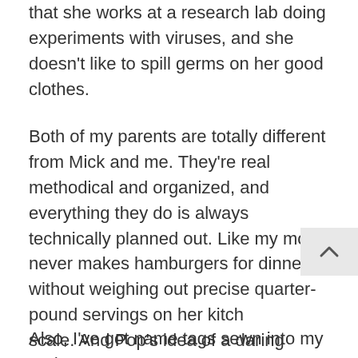that she works at a research lab doing experiments with viruses, and she doesn't like to spill germs on her good clothes.
Both of my parents are totally different from Mick and me. They're real methodical and organized, and everything they do is always technically planned out. Like my mom never makes hamburgers for dinner without weighing out precise quarter-pound servings on her kitch scale. And Pop's idea of a daring adventure i wash his socks without pinning them to their mates.
Also, I've got name tags sewn into my underwear